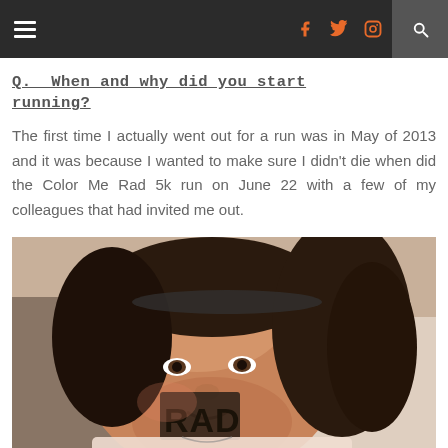Navigation bar with hamburger menu, social icons (Facebook, Twitter, Instagram), and search
Q. When and why did you start running?
The first time I actually went out for a run was in May of 2013 and it was because I wanted to make sure I didn't die when did the Color Me Rad 5k run on June 22 with a few of my colleagues that had invited me out.
[Figure (photo): Woman with curly hair and 'RAD' written on her cheek, wearing a light pink tank top, selfie photo]